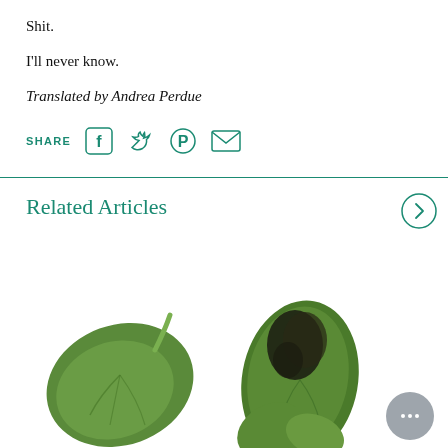Shit.
I'll never know.
Translated by Andrea Perdue
SHARE
Related Articles
[Figure (photo): Photos of green leaves on white background, some with black spots/damage. A small chat bubble icon is visible in the bottom right.]